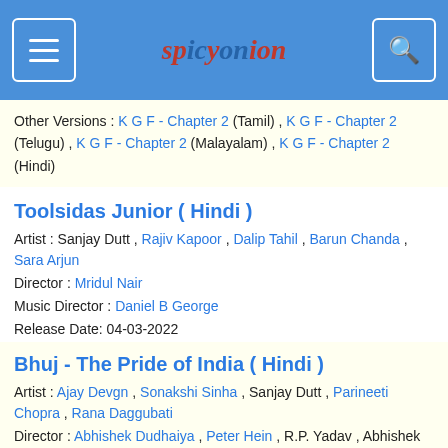spicyonion
Other Versions : K G F - Chapter 2 (Tamil) , K G F - Chapter 2 (Telugu) , K G F - Chapter 2 (Malayalam) , K G F - Chapter 2 (Hindi)
Toolsidas Junior ( Hindi )
Artist : Sanjay Dutt , Rajiv Kapoor , Dalip Tahil , Barun Chanda , Sara Arjun
Director : Mridul Nair
Music Director : Daniel B George
Release Date: 04-03-2022
Bhuj - The Pride of India ( Hindi )
Artist : Ajay Devgn , Sonakshi Sinha , Sanjay Dutt , Parineeti Chopra , Rana Daggubati
Director : Abhishek Dudhaiya , Peter Hein , R.P. Yadav , Abhishek Dudhaiya
Music Director :
Release Date: 13-08-2021